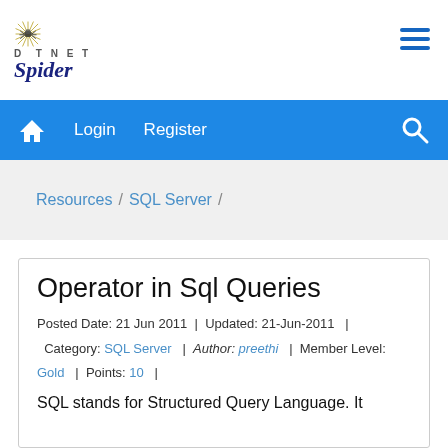[Figure (logo): DotNet Spider logo with starburst graphic, 'DOTNET' text in spaced letters, and 'Spider' in italic dark blue script]
[Figure (other): Hamburger menu icon — three horizontal blue lines]
Home  Login  Register  [search icon]
Resources / SQL Server /
Operator in Sql Queries
Posted Date: 21 Jun 2011  |  Updated: 21-Jun-2011  |  Category: SQL Server  |  Author: preethi  |  Member Level: Gold  |  Points: 10  |
SQL stands for Structured Query Language. It